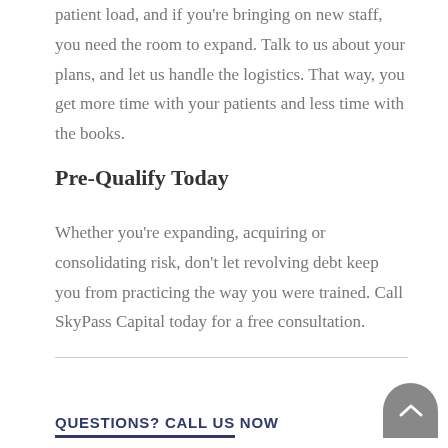patient load, and if you're bringing on new staff, you need the room to expand. Talk to us about your plans, and let us handle the logistics. That way, you get more time with your patients and less time with the books.
Pre-Qualify Today
Whether you're expanding, acquiring or consolidating risk, don't let revolving debt keep you from practicing the way you were trained. Call SkyPass Capital today for a free consultation.
QUESTIONS? CALL US NOW